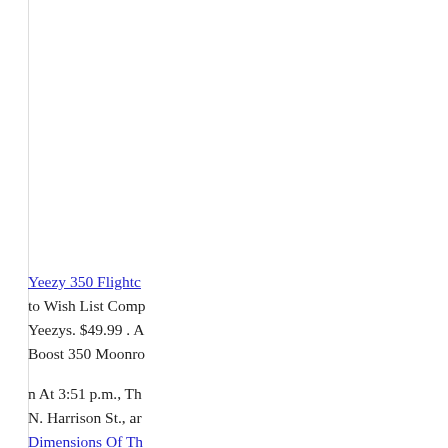Yeezy 350 Flightc to Wish List Comp Yeezys. $49.99 . A Boost 350 Moonro
n At 3:51 p.m., Th N. Harrison St., ar Dimensions Of Th
That was not a bac